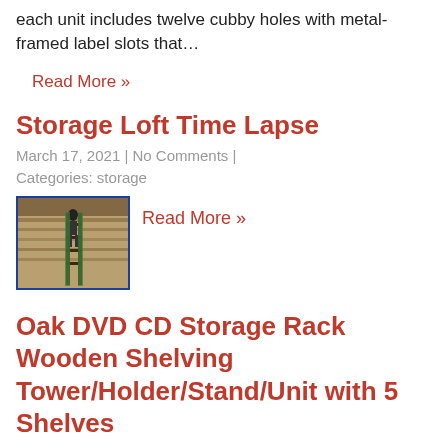each unit includes twelve cubby holes with metal-framed label slots that…
Read More »
Storage Loft Time Lapse
March 17, 2021 | No Comments | Categories: storage
[Figure (photo): Person standing on a ladder in a storage loft under construction, with wooden boards visible]
Read More »
Oak DVD CD Storage Rack Wooden Shelving Tower/Holder/Stand/Unit with 5 Shelves
April 16, 2020 | No Comments | Categories: storage
[Figure (photo): Small image of an oak wooden DVD rack with shelves]
Ideal for movie lovers and film fanatics, this solid oak DVD rack